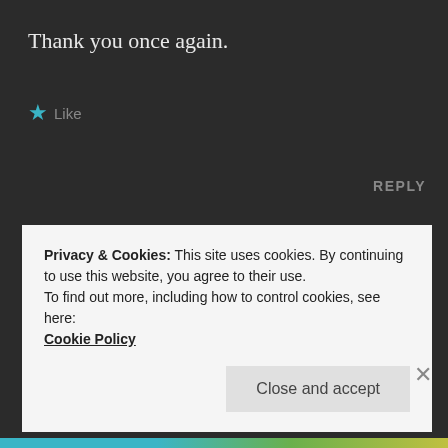Thank you once again.
★ Like
REPLY
Paul Hinsberger
SEPTEMBER 12, 2015 AT 8:24 AM
[Figure (illustration): Circular avatar with blue diamond/gem icon on dark background]
Privacy & Cookies: This site uses cookies. By continuing to use this website, you agree to their use.
To find out more, including how to control cookies, see here:
Cookie Policy
Close and accept